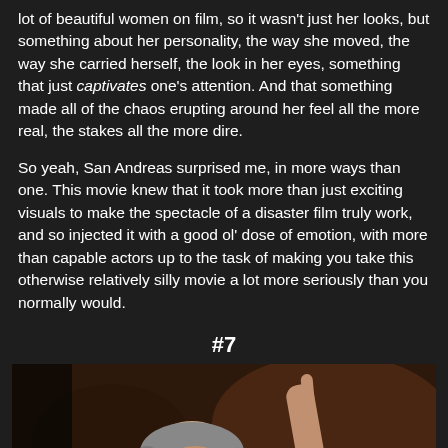lot of beautiful women on film, so it wasn't just her looks, but something about her personality, the way she moved, the way she carried herself, the look in her eyes, something that just captivates one's attention. And that something made all of the chaos erupting around her feel all the more real, the stakes all the more dire.

So yeah, San Andreas surprised me, in more ways than one. This movie knew that it took more than just exciting visuals to make the spectacle of a disaster film truly work, and so injected it with a good ol' dose of emotion, with more than capable actors up to the task of making you take this otherwise relatively silly movie a lot more seriously than you normally would.
#7
[Figure (photo): A man with grey hair and glasses, pointing upward with one finger in a dimly lit indoor setting.]